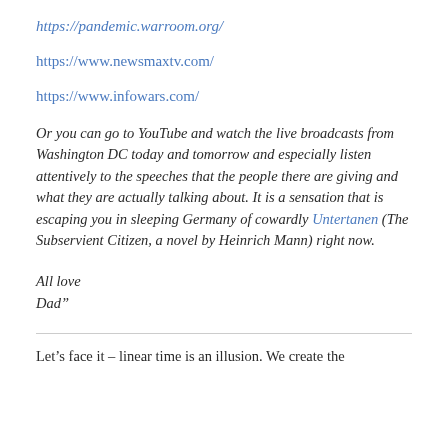https://pandemic.warroom.org/
https://www.newsmaxtv.com/
https://www.infowars.com/
Or you can go to YouTube and watch the live broadcasts from Washington DC today and tomorrow and especially listen attentively to the speeches that the people there are giving and what they are actually talking about. It is a sensation that is escaping you in sleeping Germany of cowardly Untertanen (The Subservient Citizen, a novel by Heinrich Mann) right now.
All love
Dad”
Let’s face it – linear time is an illusion. We create the